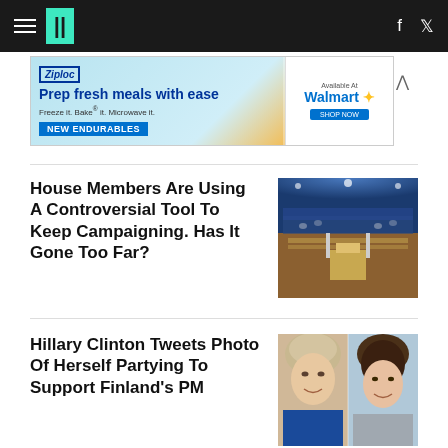HuffPost navigation with hamburger menu, logo, Facebook and Twitter icons
[Figure (other): Ziploc advertisement - Prep fresh meals with ease. Freeze it. Bake it. Microwave it. New Endurables. Available at Walmart.]
House Members Are Using A Controversial Tool To Keep Campaigning. Has It Gone Too Far?
[Figure (photo): Photo of the US House chamber during a joint session, showing members seated in the grand chamber with bright lighting.]
Hillary Clinton Tweets Photo Of Herself Partying To Support Finland's PM
[Figure (photo): Side-by-side photo of Hillary Clinton (left, smiling, wearing blue) and Finland's Prime Minister Sanna Marin (right, smiling).]